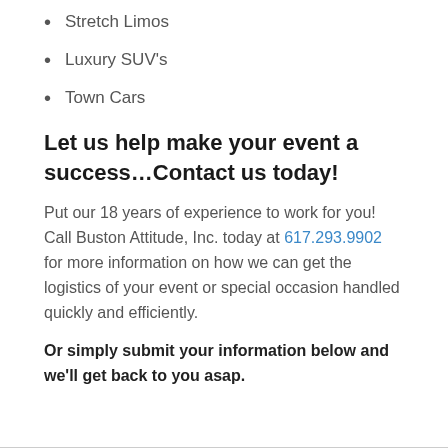Stretch Limos
Luxury SUV's
Town Cars
Let us help make your event a success…Contact us today!
Put our 18 years of experience to work for you! Call Buston Attitude, Inc. today at 617.293.9902 for more information on how we can get the logistics of your event or special occasion handled quickly and efficiently.
Or simply submit your information below and we'll get back to you asap.